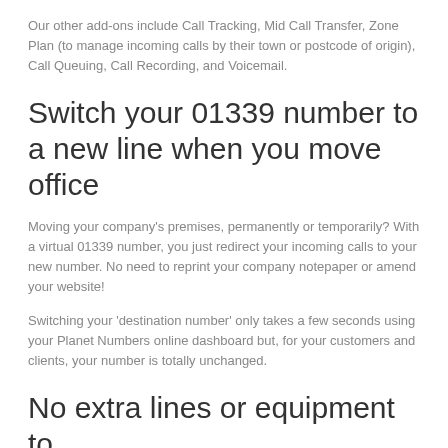evening and/or at weekends.
Our other add-ons include Call Tracking, Mid Call Transfer, Zone Plan (to manage incoming calls by their town or postcode of origin), Call Queuing, Call Recording, and Voicemail.
Switch your 01339 number to a new line when you move office
Moving your company's premises, permanently or temporarily? With a virtual 01339 number, you just redirect your incoming calls to your new number. No need to reprint your company notepaper or amend your website!
Switching your 'destination number' only takes a few seconds using your Planet Numbers online dashboard but, for your customers and clients, your number is totally unchanged.
No extra lines or equipment to